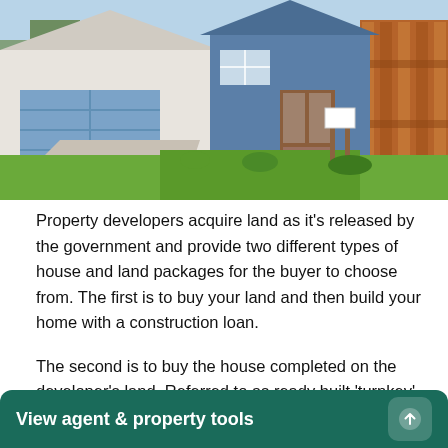[Figure (photo): Exterior photo of a modern Australian house with blue garage door, stone/render facade, green lawn, and decorative wooden fence panel on the right.]
Property developers acquire land as it's released by the government and provide two different types of house and land packages for the buyer to choose from. The first is to buy your land and then build your home with a construction loan.
The second is to buy the house completed on the developer's land. Referred to as ready built 'turnkey' packages, this means your home is ready for you to move in with a fully fitted kitchen, bathrooms, flooring and more.
Ad... co... ty
View agent & property tools